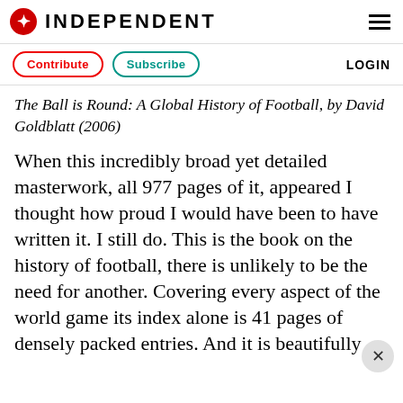INDEPENDENT
The Ball is Round: A Global History of Football, by David Goldblatt (2006)
When this incredibly broad yet detailed masterwork, all 977 pages of it, appeared I thought how proud I would have been to have written it. I still do. This is the book on the history of football, there is unlikely to be the need for another. Covering every aspect of the world game its index alone is 41 pages of densely packed entries. And it is beautifully written…